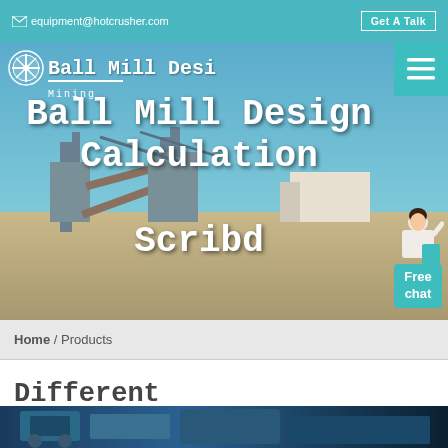equipment@hotcrusher.com   Get A Talk
[Figure (screenshot): Hero banner with mining equipment/industrial plant site background, company logo 'Ball Mill Design' with snowflake icon and 'Mining' subtitle, navigation menu button, title text 'Ball Mill Design Calculation Scribd', and free chat widget with person icon]
Home / Products
Different Machines To Meet All Need
[Figure (photo): Partial view of blue mining/industrial machinery at bottom of page]